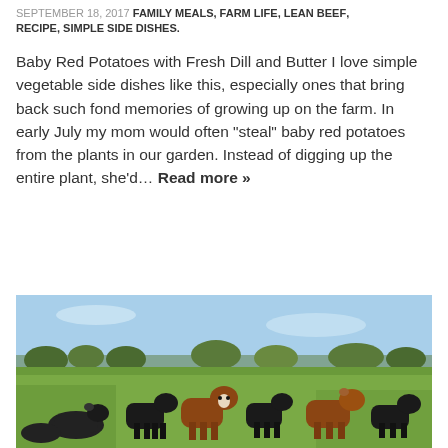SEPTEMBER 18, 2017 FAMILY MEALS, FARM LIFE, LEAN BEEF, RECIPE, SIMPLE SIDE DISHES.
Baby Red Potatoes with Fresh Dill and Butter I love simple vegetable side dishes like this, especially ones that bring back such fond memories of growing up on the farm. In early July my mom would often "steal" baby red potatoes from the plants in our garden. Instead of digging up the entire plant, she'd… Read more »
Read more
[Figure (photo): A herd of cattle, including brown and black cows, grazing in a flat green pasture under a light blue sky with trees in the background.]